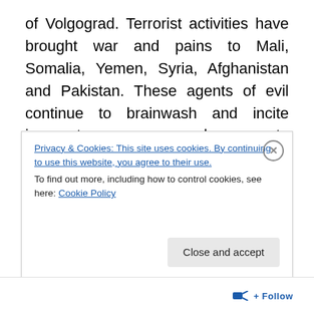of Volgograd. Terrorist activities have brought war and pains to Mali, Somalia, Yemen, Syria, Afghanistan and Pakistan. These agents of evil continue to brainwash and incite ignorant young men and women to attack the innocent. We cannot allow this to continue.
I welcome the statements of solidarity from patriotic citizens and the global community in support of our efforts to stamp out terrorism. I applaud the understanding that in a democracy, such as we are building, people can have differences while sharing worthy values and standing
Privacy & Cookies: This site uses cookies. By continuing to use this website, you agree to their use.
To find out more, including how to control cookies, see here: Cookie Policy